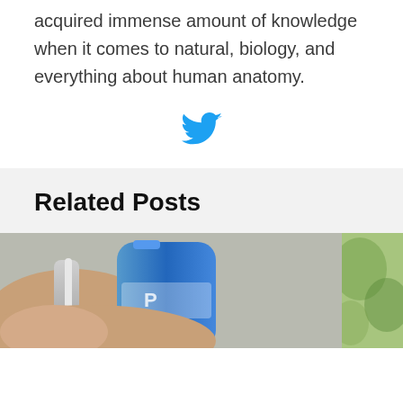acquired immense amount of knowledge when it comes to natural, biology, and everything about human anatomy.
[Figure (logo): Twitter bird icon in blue]
Related Posts
[Figure (photo): Photo showing a person holding a blue bottle/container, with a blurred green background on the right side]